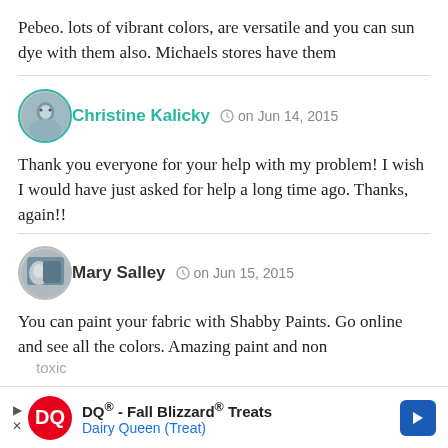Pebeo. lots of vibrant colors, are versatile and you can sun dye with them also. Michaels stores have them
Christine Kalicky  on Jun 14, 2015
Thank you everyone for your help with my problem! I wish I would have just asked for help a long time ago. Thanks, again!!
Mary Salley  on Jun 15, 2015
You can paint your fabric with Shabby Paints. Go online and see all the colors. Amazing paint and non toxic
[Figure (infographic): DQ - Fall Blizzard Treats advertisement banner with Dairy Queen logo and blue arrow button]